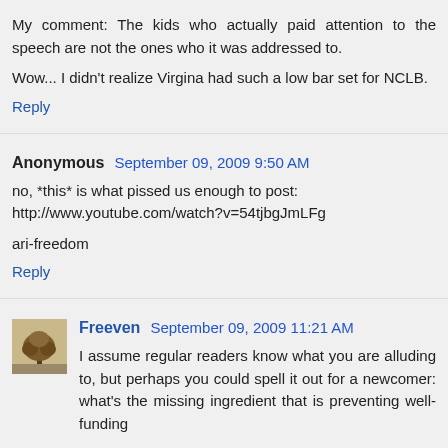My comment: The kids who actually paid attention to the speech are not the ones who it was addressed to.
Wow... I didn't realize Virgina had such a low bar set for NCLB.
Reply
Anonymous  September 09, 2009 9:50 AM
no, *this* is what pissed us enough to post: http://www.youtube.com/watch?v=54tjbgJmLFg
ari-freedom
Reply
Freeven  September 09, 2009 11:21 AM
I assume regular readers know what you are alluding to, but perhaps you could spell it out for a newcomer: what's the missing ingredient that is preventing well-funding